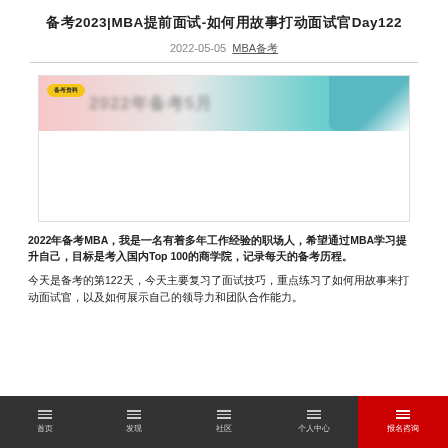备考2023|MBA提前面试-如何用故事打动面试官Day122
2022-05-05  MBA备考
[Figure (illustration): Article banner image with pink and teal background, blurred promotional text, and decorative figures on the right side]
2022年备考MBA，我是一名有着多年工作经验的职场人，希望通过MBA学习提升自己，目标是考入国内Top 100的商学院，记录每天的备考历程。
今天是备考的第122天，今天主要复习了面试技巧，重点练习了如何用故事来打动面试官，以及如何展示自己的领导力和团队合作能力。
首页  发现  社区  个人中心  报名咨询